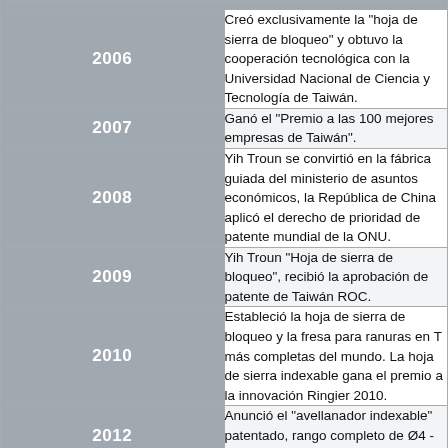| Year | Description |
| --- | --- |
| 2006 | Creó exclusivamente la "hoja de sierra de bloqueo" y obtuvo la cooperación tecnológica con la Universidad Nacional de Ciencia y Tecnología de Taiwán. |
| 2007 | Ganó el "Premio a las 100 mejores empresas de Taiwán". |
| 2008 | Yih Troun se convirtió en la fábrica guiada del ministerio de asuntos económicos, la República de China aplicó el derecho de prioridad de patente mundial de la ONU. |
| 2009 | Yih Troun "Hoja de sierra de bloqueo", recibió la aprobación de patente de Taiwán ROC. |
| 2010 | Estableció la hoja de sierra de bloqueo y la fresa para ranuras en T más completas del mundo. La hoja de sierra indexable gana el premio a la innovación Ringier 2010. |
| 2012 | Anunció el "avellanador indexable" patentado, rango completo de Ø4 - Ø110 mm, está aprobado por |